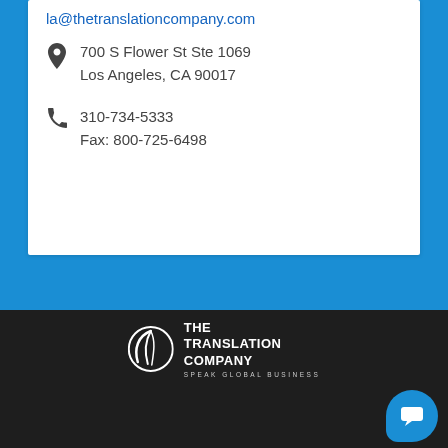la@thetranslationcompany.com
700 S Flower St Ste 1069
Los Angeles, CA 90017
310-734-5333
Fax: 800-725-6498
[Figure (logo): The Translation Company logo with circular swoosh icon and tagline SPEAK GLOBAL BUSINESS]
SITE MAP   RESOURCES   ARTICLES   FA...
QUICK PAY